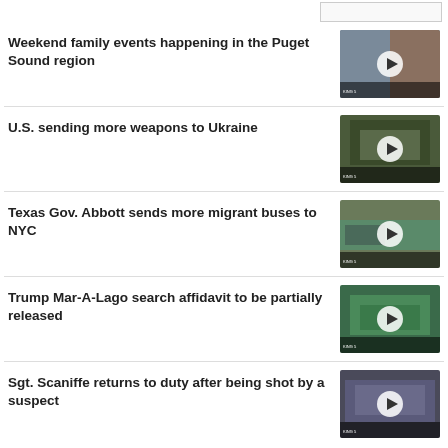[Figure (screenshot): Search bar at top right]
Weekend family events happening in the Puget Sound region
[Figure (photo): Video thumbnail with two news anchors, play button overlay]
U.S. sending more weapons to Ukraine
[Figure (photo): Video thumbnail showing military scene, play button overlay]
Texas Gov. Abbott sends more migrant buses to NYC
[Figure (photo): Video thumbnail showing buses scene, play button overlay]
Trump Mar-A-Lago search affidavit to be partially released
[Figure (photo): Video thumbnail aerial view of Mar-a-Lago, play button overlay]
Sgt. Scaniffe returns to duty after being shot by a suspect
[Figure (photo): Video thumbnail showing group of people, play button overlay]